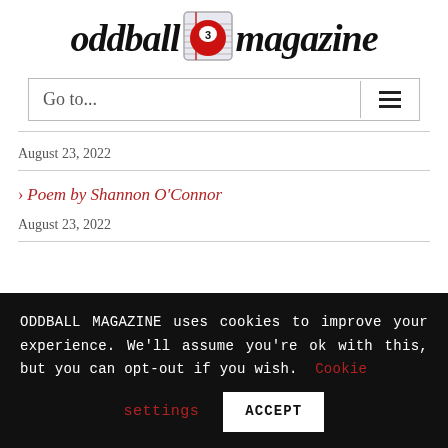[Figure (logo): Oddball Magazine logo with a billiard ball numbered 3 replacing the letter 'l', styled in bold italic serif font]
Go to...
August 23, 2022
> Poem by Shannon O'Connor
August 23, 2022
ODDBALL MAGAZINE uses cookies to improve your experience. We'll assume you're ok with this, but you can opt-out if you wish. Cookie settings ACCEPT